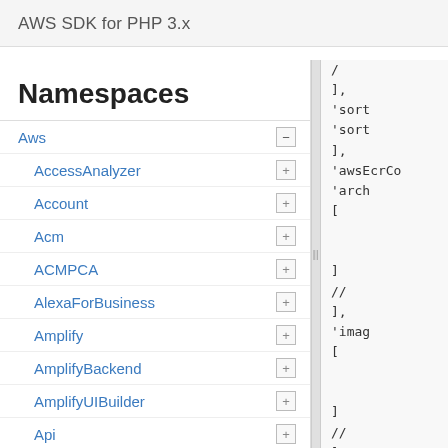AWS SDK for PHP 3.x
Namespaces
Aws −
AccessAnalyzer +
Account +
Acm +
ACMPCA +
AlexaForBusiness +
Amplify +
AmplifyBackend +
AmplifyUIBuilder +
Api +
ApiGateway +
ApiGatewayManagementApi +
[Figure (screenshot): Code panel showing PHP array code with keys: ], 'sort', 'sort', ], 'awsEcrCo', 'arch', [, ], //, ], 'imag', [, ], //, ], 'imag']